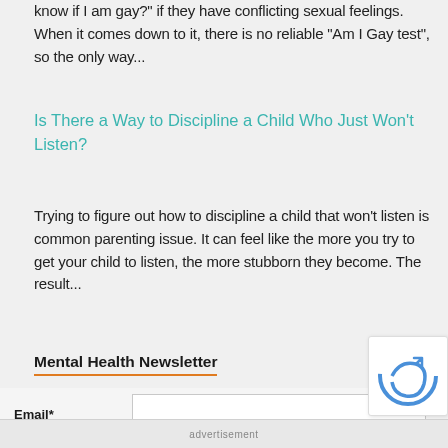know if I am gay?" if they have conflicting sexual feelings. When it comes down to it, there is no reliable "Am I Gay test", so the only way...
Is There a Way to Discipline a Child Who Just Won't Listen?
Trying to figure out how to discipline a child that won't listen is common parenting issue. It can feel like the more you try to get your child to listen, the more stubborn they become. The result...
Mental Health Newsletter
Email*
First Name*
advertisement